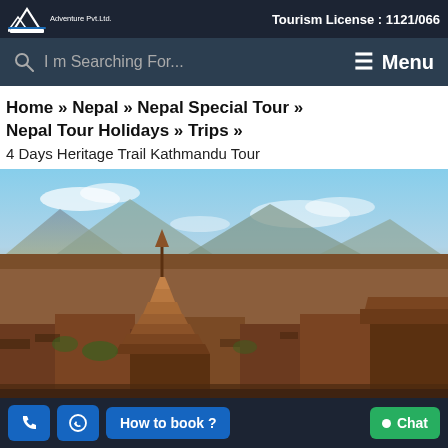Tourism License : 1121/066
I m Searching For...
≡ Menu
Home » Nepal » Nepal Special Tour » Nepal Tour Holidays » Trips » 4 Days Heritage Trail Kathmandu Tour
[Figure (photo): Aerial panoramic view of Kathmandu city with a prominent multi-tiered pagoda temple in the foreground, traditional Newari architecture rooftops, mountains in the background, and a blue partly cloudy sky.]
How to book ?
Chat